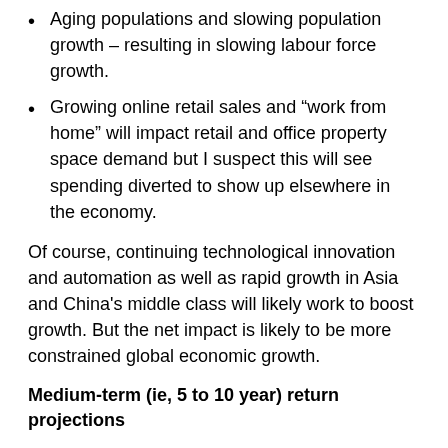Aging populations and slowing population growth – resulting in slowing labour force growth.
Growing online retail sales and “work from home” will impact retail and office property space demand but I suspect this will see spending diverted to show up elsewhere in the economy.
Of course, continuing technological innovation and automation as well as rapid growth in Asia and China’s middle class will likely work to boost growth. But the net impact is likely to be more constrained global economic growth.
Medium-term (ie, 5 to 10 year) return projections
Our approach to get a handle on medium-term return potential of major asset classes is to start with current yields for each and apply simple and consistent assumptions regarding capital growth